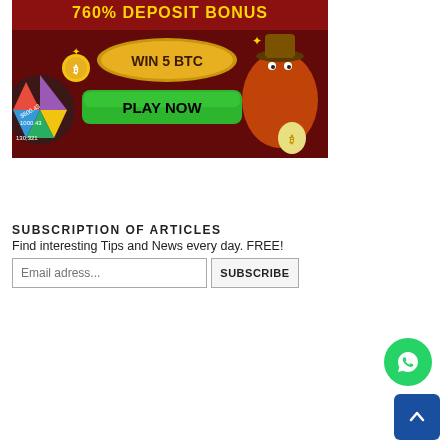[Figure (illustration): Casino advertisement banner with dark red background. Shows text '760% DEPOSIT BONUS' at top in yellow, 'WIN 5 BTC' in a golden badge, 'PLAY NOW' in a green button, a cartoon green crocodile wearing a cowboy hat and holding a bitcoin money bag, and colorful casino wheel on the left with currency amounts.]
SUBSCRIPTION OF ARTICLES
Find interesting Tips and News every day. FREE!
[Figure (other): Email subscription form with input field placeholder 'Email adress...' and a SUBSCRIBE button]
[Figure (other): Green circular WhatsApp button icon in bottom right area]
[Figure (other): Blue square back-to-top arrow button in bottom right corner]